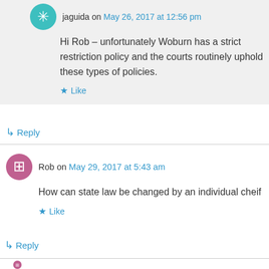jaguida on May 26, 2017 at 12:56 pm
Hi Rob – unfortunately Woburn has a strict restriction policy and the courts routinely uphold these types of policies.
Like
Reply
Rob on May 29, 2017 at 5:43 am
How can state law be changed by an individual cheif
Like
Reply